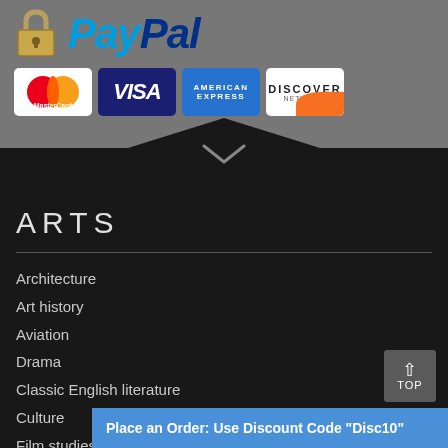[Figure (logo): PayPal logo with padlock icon and credit card logos (MasterCard, VISA, American Express, Discover) on grey background]
ARTS
Architecture
Art history
Aviation
Drama
Classic English literature
Culture
Film studies
Literature
Place an Order: Use Discount Code "Disc10"